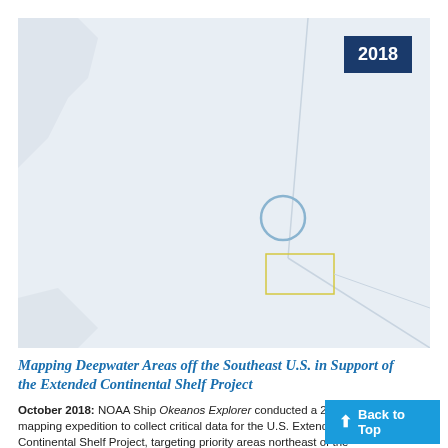[Figure (map): Nautical/ocean map showing deepwater areas northeast of the Bahamas with boundary lines, a circular marker, and a rectangular highlighted region. Year badge '2018' in upper right corner.]
Mapping Deepwater Areas off the Southeast U.S. in Support of the Extended Continental Shelf Project
October 2018: NOAA Ship Okeanos Explorer conducted a 24-day mapping expedition to collect critical data for the U.S. Extended Continental Shelf Project, targeting priority areas northeast of the Bahamas.